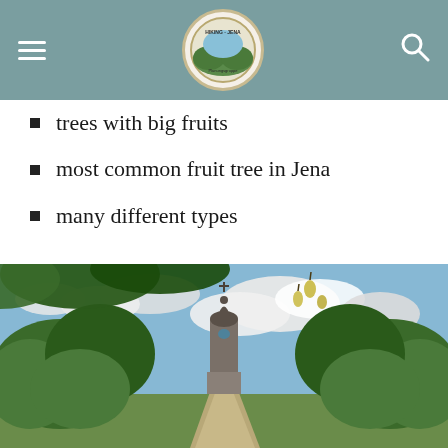Hiking-Jena logo and navigation
trees with big fruits
most common fruit tree in Jena
many different types
[Figure (photo): A tree-lined path leading to a church tower with a dome, surrounded by lush green trees under a partly cloudy blue sky, with pear fruits visible in tree branches at the top of the image.]